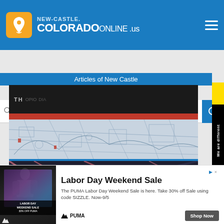[Figure (screenshot): New Castle Colorado Online website header with logo (orange map pin icon, white text NEW-CASTLE / COLORADOonline .us on blue background) and hamburger menu icon]
[Figure (screenshot): Search bar with 'Business or Keyword' input field with microphone icon, 'New Castle (CO)' location field, and blue search button]
Articles of New Castle
[Figure (photo): Close-up photo of a board game or map with red border, black top section with white text partially visible, and a white/light blue map or diagram below]
[Figure (photo): Photo of an indoor venue ceiling with exposed trusses and lighting, pink/red structural elements crossing the frame]
[Figure (infographic): Vertical side banner with yellow, black, and blue sections reading 'We are different le.Colora']
[Figure (screenshot): PUMA Labor Day Weekend Sale advertisement with athlete photo, ad text 'The PUMA Labor Day Weekend Sale is here. Take 30% off Sale using code SIZZLE. Now-9/5' and Shop Now button]